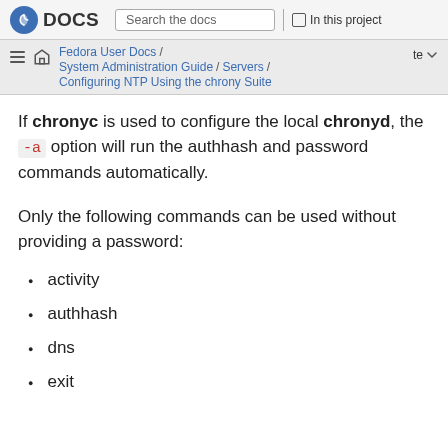Fedora DOCS | Search the docs | In this project
Fedora User Docs / System Administration Guide / Servers / Configuring NTP Using the chrony Suite
If chronyc is used to configure the local chronyd, the -a option will run the authhash and password commands automatically.
Only the following commands can be used without providing a password:
activity
authhash
dns
exit